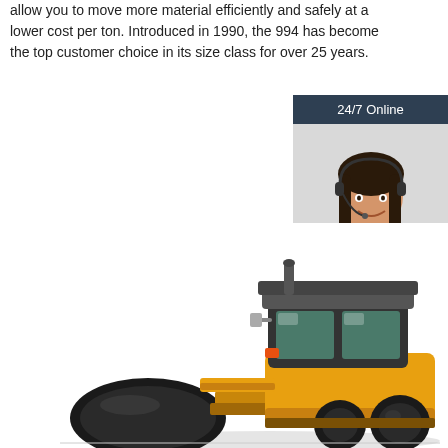allow you to move more material efficiently and safely at a lower cost per ton. Introduced in 1990, the 994 has become the top customer choice in its size class for over 25 years.
Get Price
[Figure (infographic): Chat box widget with '24/7 Online' header, photo of a female customer service representative with headset, 'Click here for free chat!' text, and an orange QUOTATION button]
[Figure (photo): Yellow and black road roller / compactor construction machine on white background]